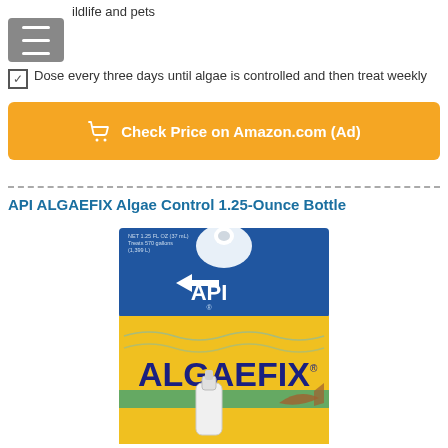wildlife and pets
Dose every three days until algae is controlled and then treat weekly
Check Price on Amazon.com (Ad)
API ALGAEFIX Algae Control 1.25-Ounce Bottle
[Figure (photo): API ALGAEFIX Algae Control 1.25-Ounce Bottle product packaging showing blue and yellow label with API logo and fish image]